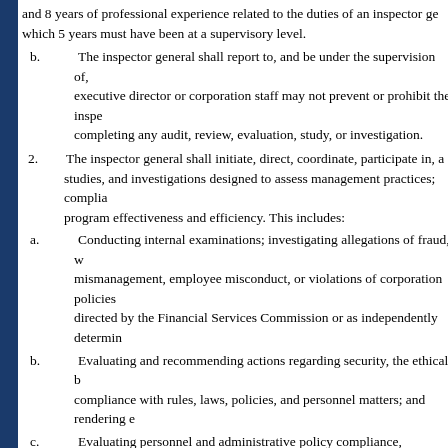and 8 years of professional experience related to the duties of an inspector general, of which 5 years must have been at a supervisory level.
b. The inspector general shall report to, and be under the supervision of, the executive director or corporation staff may not prevent or prohibit the inspector from completing any audit, review, evaluation, study, or investigation.
2. The inspector general shall initiate, direct, coordinate, participate in, and conduct audits, studies, and investigations designed to assess management practices; compliance; and program effectiveness and efficiency. This includes:
a. Conducting internal examinations; investigating allegations of fraud, waste, mismanagement, employee misconduct, or violations of corporation policies as directed by the Financial Services Commission or as independently determined.
b. Evaluating and recommending actions regarding security, the ethical behavior, compliance with rules, laws, policies, and personnel matters; and rendering ethics opinions.
c. Evaluating personnel and administrative policy compliance, management, and human resources-related matters.
d. Evaluating the application of a corporation code of ethics, providing recommendations and content of ethics-related policy training courses, educating employees on ethics policy, and checking for compliance.
e. Evaluating the activities of the senior management team and management risk solutions.
f. Cooperating and coordinating activities with the chief of internal auditor.
g. Maintaining records of investigations and discipline in accordance with applicable law.